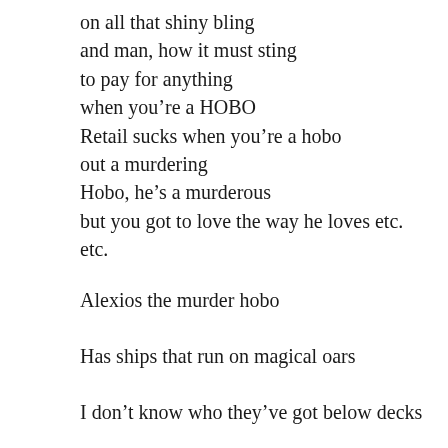on all that shiny bling
and man, how it must sting
to pay for anything
when you’re a HOBO
Retail sucks when you’re a hobo
out a murdering
Hobo, he’s a murderous
but you got to love the way he loves etc.
etc.
Alexios the murder hobo
Has ships that run on magical oars
I don’t know who they’ve got below decks